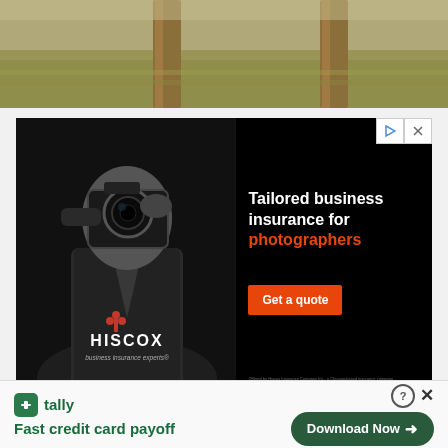[Figure (photo): Top portion of an outdoor photo showing grass and wooden posts/fence, cropped at top of page]
[Figure (photo): Hiscox insurance advertisement. Black background with black-and-white photo of a photographer holding a camera. Text reads 'Tailored business insurance for photographers' with 'photographers' in orange/red. Red button reads 'Get a quote'. Bottom has Hiscox logo and tagline 'business insurance experts'. Ad controls (play and close icons) in top right.]
[Figure (photo): Tally app bottom banner advertisement. Green Tally logo icon on left with text 'Fast credit card payoff' in green. Right side has help/close icons and a dark green 'Download Now' button with arrow.]